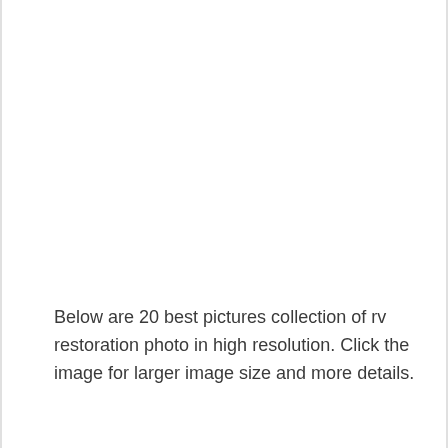Below are 20 best pictures collection of rv restoration photo in high resolution. Click the image for larger image size and more details.